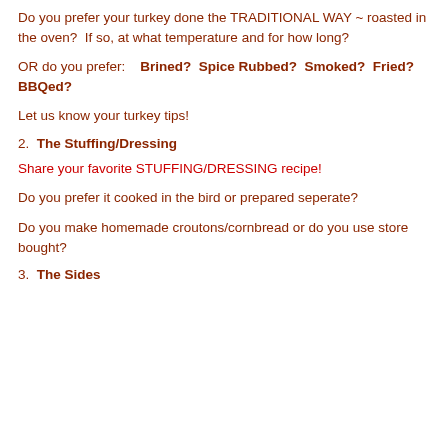Do you prefer your turkey done the TRADITIONAL WAY ~ roasted in the oven?  If so, at what temperature and for how long?
OR do you prefer:    Brined?  Spice Rubbed?  Smoked?  Fried?  BBQed?
Let us know your turkey tips!
2.  The Stuffing/Dressing
Share your favorite STUFFING/DRESSING recipe!
Do you prefer it cooked in the bird or prepared seperate?
Do you make homemade croutons/cornbread or do you use store bought?
3.  The Sides